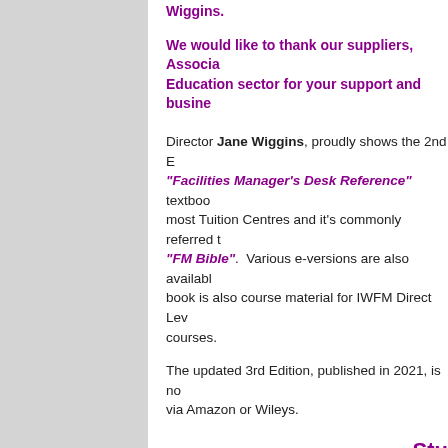Wiggins.
We would like to thank our suppliers, Associa... Education sector for your support and busine...
Director Jane Wiggins, proudly shows the 2nd E... "Facilities Manager's Desk Reference" textboo... most Tuition Centres and it's commonly referred t... "FM Bible". Various e-versions are also availabl... book is also course material for IWFM Direct Lev... courses.
The updated 3rd Edition, published in 2021, is no... via Amazon or Wileys.
Stu...
Our programmes of study are now closed to n... of 2020 after many years tutoring and coachi... progressed in their FM careers.
C...
Jane tutored BIFM Student of the Year W... examinations scheme
We tutored and supported Jake Drummo... 4 Award and Level 5 Diploma via distance...